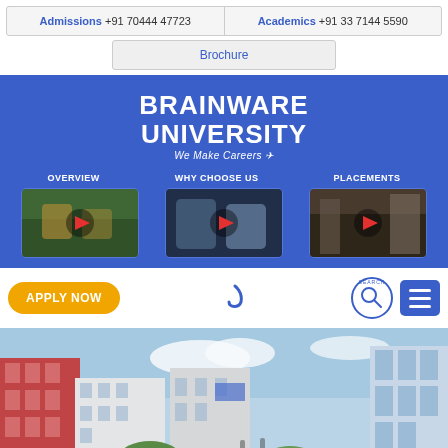Admissions +91 70444 47723   Academics +91 33 7144 5590
Brochure
BRAINWARE UNIVERSITY
We Make Careers
OVERVIEW   WHY CHOOSE US   PLACEMENTS
[Figure (screenshot): Three video thumbnail images side by side under OVERVIEW, WHY CHOOSE US, PLACEMENTS navigation labels with red play buttons]
APPLY NOW
[Figure (photo): Campus buildings photo showing multi-story red and white buildings with trees and walkways under a blue sky]
NPTEL NATIONAL PROGRAMME ON